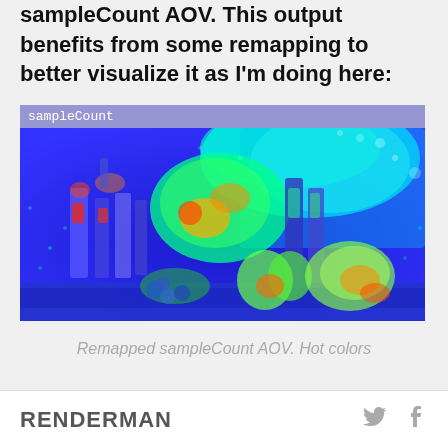sampleCount AOV. This output benefits from some remapping to better visualize it as I'm doing here:
[Figure (photo): A false-color heatmap rendering of a still-life scene (bottles, candles, fruit, teapot) using blue as background/low-sample areas and green/yellow/red as higher-sample areas. The image has a 'sampleCount' label bar at the top. Hot-color remapping applied.]
Remapped sampleCount AOV. Hot colors
RENDERMAN